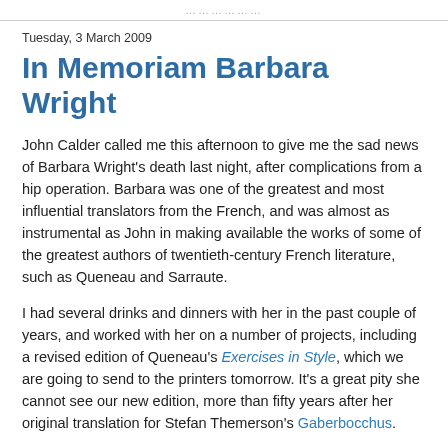…………………
Tuesday, 3 March 2009
In Memoriam Barbara Wright
John Calder called me this afternoon to give me the sad news of Barbara Wright's death last night, after complications from a hip operation. Barbara was one of the greatest and most influential translators from the French, and was almost as instrumental as John in making available the works of some of the greatest authors of twentieth-century French literature, such as Queneau and Sarraute.
I had several drinks and dinners with her in the past couple of years, and worked with her on a number of projects, including a revised edition of Queneau's Exercises in Style, which we are going to send to the printers tomorrow. It's a great pity she cannot see our new edition, more than fifty years after her original translation for Stefan Themerson's Gaberbocchus.
I spoke to her only a few days ago about the final proofs of